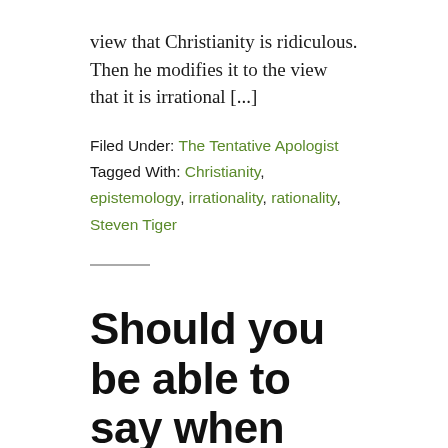view that Christianity is ridiculous. Then he modifies it to the view that it is irrational [...]
Filed Under: The Tentative Apologist
Tagged With: Christianity, epistemology, irrationality, rationality, Steven Tiger
Should you be able to say when you wouldn't be a Christian in order to